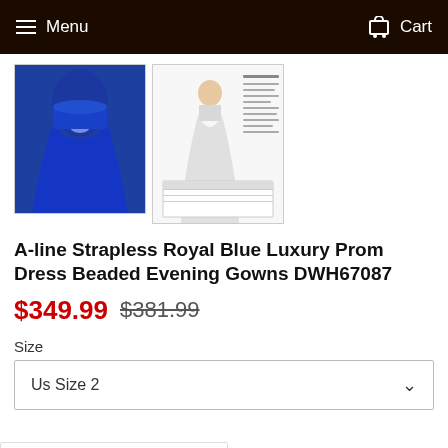Menu   Cart
[Figure (photo): Two product images: left shows a royal blue strapless A-line prom dress, right shows a sizing/measurement chart illustration of the same dress in white/silver.]
A-line Strapless Royal Blue Luxury Prom Dress Beaded Evening Gowns DWH67087
$349.99  $381.99
Size
Us Size 2
★★★★★ 4.95  546 Rating available